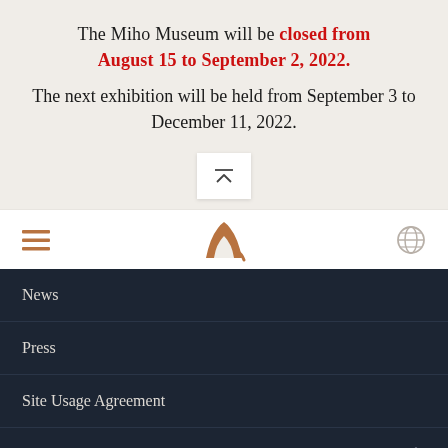The Miho Museum will be closed from August 15 to September 2, 2022. The next exhibition will be held from September 3 to December 11, 2022.
[Figure (other): Scroll to top button with up-arrow icon on light beige background]
[Figure (other): Navigation bar with hamburger menu icon on left, Miho Museum stylized M logo in center (brown/copper color), globe icon on right]
News
Press
Site Usage Agreement
©MIHO MUSEUM. All Right Reserved.